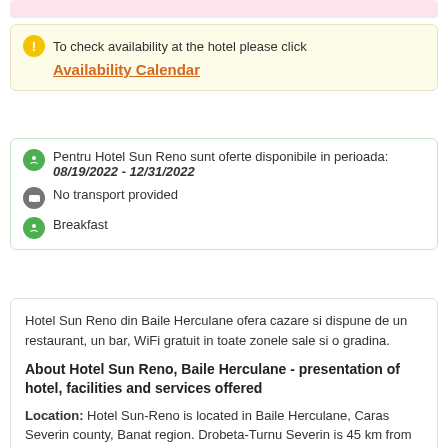To check availability at the hotel please click
Availability Calendar
Pentru Hotel Sun Reno sunt oferte disponibile in perioada: 08/19/2022 - 12/31/2022
No transport provided
Breakfast
Hotel Sun Reno din Baile Herculane ofera cazare si dispune de un restaurant, un bar, WiFi gratuit in toate zonele sale si o gradina.
About Hotel Sun Reno, Baile Herculane - presentation of hotel, facilities and services offered
Location: Hotel Sun-Reno is located in Baile Herculane, Caras Severin county, Banat region. Drobeta-Turnu Severin is 45 km from Sun-Reno.
Description and general facilities: Hotel Sun-Reno in Baile Herculane has a restaurant, a bar, free WiFi in all areas and a